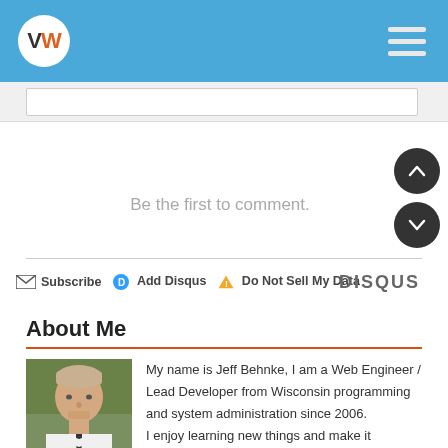VW [logo] — hamburger menu
Be the first to comment.
Subscribe  Add Disqus  Do Not Sell My Data    DISQUS
About Me
[Figure (photo): Headshot photo of Jeff Behnke, a man in a white shirt and dark tie, outdoors with greenery in background]
My name is Jeff Behnke, I am a Web Engineer / Lead Developer from Wisconsin programming and system administration since 2006. I enjoy learning new things and make it